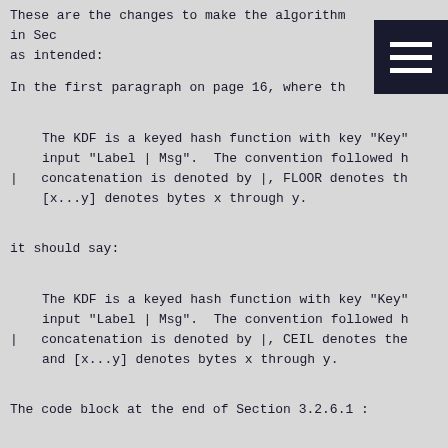These are the changes to make the algorithm in Sec as intended:
In the first paragraph on page 16, where th
The KDF is a keyed hash function with key "Key" input "Label | Msg".  The convention followed h | concatenation is denoted by |, FLOOR denotes th [x...y] denotes bytes x through y.
it should say:
The KDF is a keyed hash function with key "Key" input "Label | Msg".  The convention followed h | concatenation is denoted by |, CEIL denotes the and [x...y] denotes bytes x through y.
The code block at the end of Section 3.2.6.1 :
KDF(Key, Label, Msg, Length)
    R := []  ;; null string
|   for i := 0 to FLOOR(Length/20)-1 do